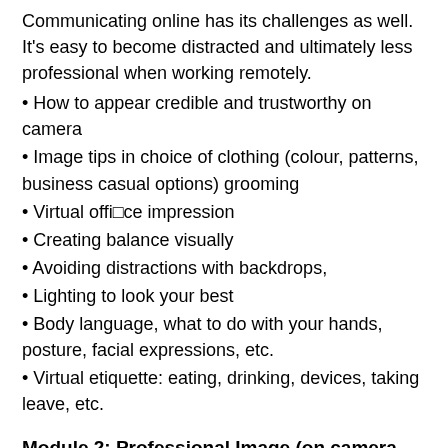Communicating online has its challenges as well. It's easy to become distracted and ultimately less professional when working remotely.
How to appear credible and trustworthy on camera
Image tips in choice of clothing (colour, patterns, business casual options) grooming
Virtual office impression
Creating balance visually
Avoiding distractions with backdrops,
Lighting to look your best
Body language, what to do with your hands, posture, facial expressions, etc.
Virtual etiquette: eating, drinking, devices, taking leave, etc.
Module 2: Professional Image (on camera and in-person)